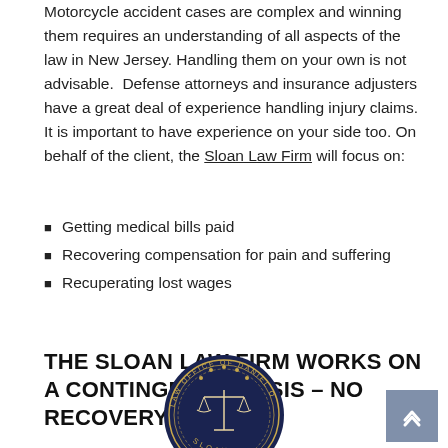Motorcycle accident cases are complex and winning them requires an understanding of all aspects of the law in New Jersey. Handling them on your own is not advisable. Defense attorneys and insurance adjusters have a great deal of experience handling injury claims. It is important to have experience on your side too. On behalf of the client, the Sloan Law Firm will focus on:
Getting medical bills paid
Recovering compensation for pain and suffering
Recuperating lost wages
THE SLOAN LAW FIRM WORKS ON A CONTINGENCY BASIS – NO RECOVERY, NO FEE
[Figure (logo): Circular seal/logo for the Law Office of Daniel O Sloan, featuring scales of justice in the center with laurel wreath border and stars, in dark navy blue.]